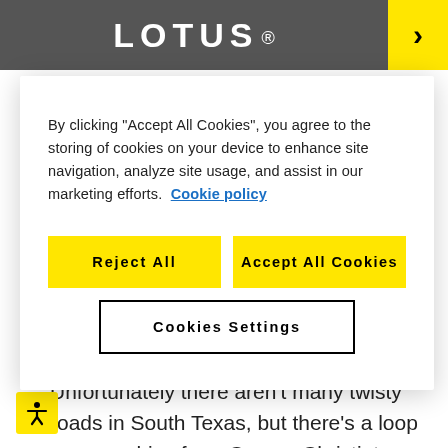LOTUS
By clicking “Accept All Cookies”, you agree to the storing of cookies on your device to enhance site navigation, analyze site usage, and assist in our marketing efforts. Cookie policy
Reject All
Accept All Cookies
Cookies Settings
as well. People always want to know about this little go-kart.
Unfortunately there aren’t many twisty roads in South Texas, but there’s a loop you can drive from Corpus Christi, to Port Aransas, across a ferry vessel to Aransas